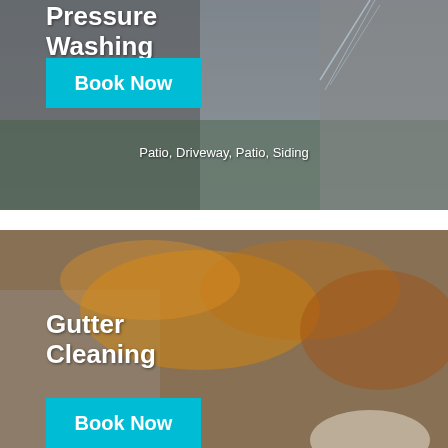[Figure (photo): Person using a pressure washer to clean a building exterior/siding, with a vehicle visible in background and green foliage. Overlaid with text 'Pressure Washing', a cyan 'Book Now' button, and subtitle 'Patio, Driveway, Patio, Siding'.]
Pressure Washing
Book Now
Patio, Driveway, Patio, Siding
[Figure (photo): Close-up of a house roofline gutter filled with autumn/fall leaves in orange and yellow tones. A gloved hand is visible at bottom right. Overlaid with text 'Gutter Cleaning' and a cyan 'Book Now' button.]
Gutter Cleaning
Book Now